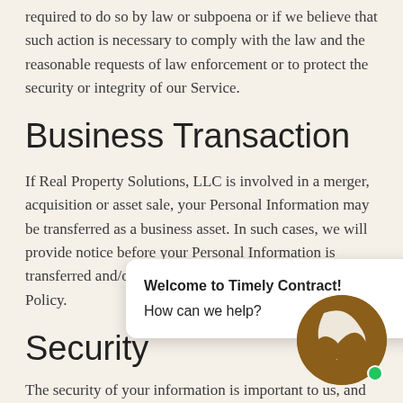required to do so by law or subpoena or if we believe that such action is necessary to comply with the law and the reasonable requests of law enforcement or to protect the security or integrity of our Service.
Business Transaction
If Real Property Solutions, LLC is involved in a merger, acquisition or asset sale, your Personal Information may be transferred as a business asset. In such cases, we will provide notice before your Personal Information is transferred and/or becomes subject to a different Privacy Policy.
Security
The security of your information is important to us, and we strive to implement and maintain commercially acceptable security procedures and
[Figure (other): Chat bubble popup saying 'Welcome to Timely Contract! How can we help?' with a brown logo circle in the bottom right corner and a green online indicator dot.]